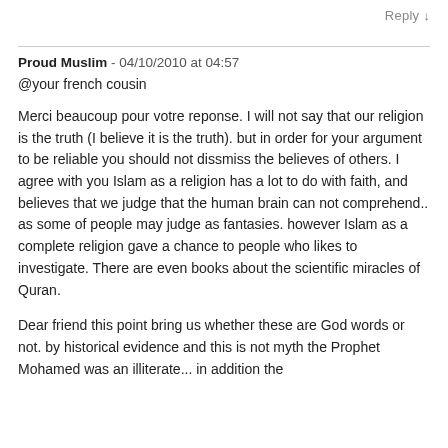Reply ↓
Proud Muslim - 04/10/2010 at 04:57
@your french cousin
Merci beaucoup pour votre reponse. I will not say that our religion is the truth (I believe it is the truth). but in order for your argument to be reliable you should not dissmiss the believes of others. I agree with you Islam as a religion has a lot to do with faith, and believes that we judge that the human brain can not comprehend.. as some of people may judge as fantasies. however Islam as a complete religion gave a chance to people who likes to investigate. There are even books about the scientific miracles of Quran.
Dear friend this point bring us whether these are God words or not. by historical evidence and this is not myth the Prophet Mohamed was an illiterate... in addition the